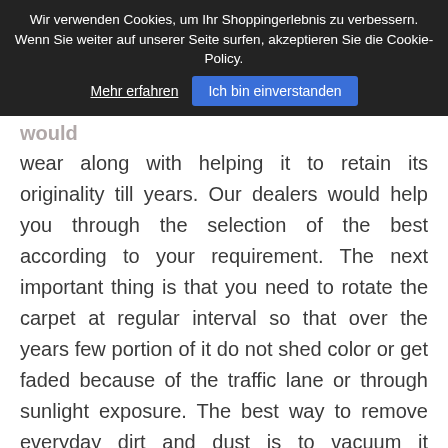Wir verwenden Cookies, um Ihr Shoppingerlebnis zu verbessern. Wenn Sie weiter auf unserer Seite surfen, akzeptieren Sie die Cookie-Policy.
wear along with helping it to retain its originality till years. Our dealers would help you through the selection of the best according to your requirement. The next important thing is that you need to rotate the carpet at regular interval so that over the years few portion of it do not shed color or get faded because of the traffic lane or through sunlight exposure. The best way to remove everyday dirt and dust is to vacuum it regularly and remember that you should take special care for portions in the fringe area because sometimes when you vacuum with a beater bar it might pull and tear the fringe causing it to wear off or separate. If you have bought a carpet recently than it is recommended to vacuum it at least two to three times in a week which will help remove any kind of excessive fuzz that might